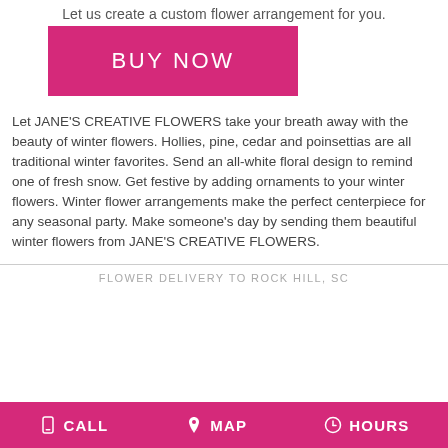Let us create a custom flower arrangement for you.
[Figure (other): Pink 'BUY NOW' call-to-action button]
Let JANE'S CREATIVE FLOWERS take your breath away with the beauty of winter flowers. Hollies, pine, cedar and poinsettias are all traditional winter favorites. Send an all-white floral design to remind one of fresh snow. Get festive by adding ornaments to your winter flowers. Winter flower arrangements make the perfect centerpiece for any seasonal party. Make someone's day by sending them beautiful winter flowers from JANE'S CREATIVE FLOWERS.
FLOWER DELIVERY TO ROCK HILL, SC
CALL   MAP   HOURS